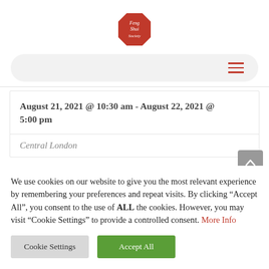[Figure (logo): Feng Shui Society octagonal red logo with white text]
[Figure (other): Navigation bar with hamburger menu icon (three red horizontal lines) on a light grey pill-shaped background]
August 21, 2021 @ 10:30 am - August 22, 2021 @ 5:00 pm
Central London
We use cookies on our website to give you the most relevant experience by remembering your preferences and repeat visits. By clicking “Accept All”, you consent to the use of ALL the cookies. However, you may visit “Cookie Settings” to provide a controlled consent. More Info